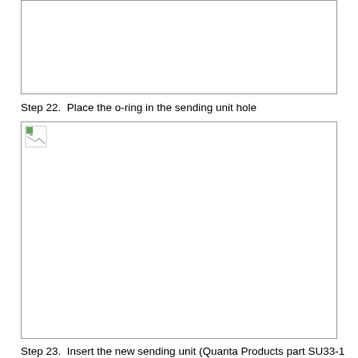[Figure (photo): Partial image placeholder (broken/missing image) showing an empty white rectangle with a border — top image on page]
Step 22.  Place the o-ring in the sending unit hole
[Figure (photo): Image placeholder (broken/missing image) showing an empty white rectangle with a border and small broken image icon in top-left corner]
Step 23.  Insert the new sending unit (Quanta Products part SU33-1 or 20-10A) into the sender hole in the new tank being careful not to cut the float or filter